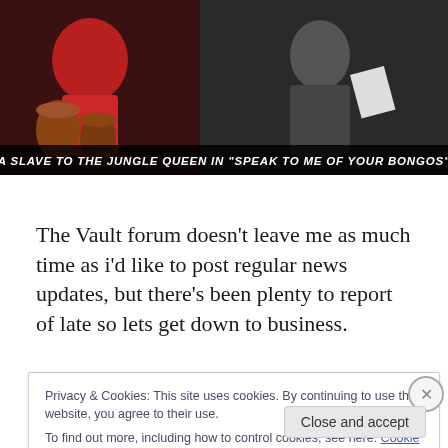[Figure (photo): Movie still image showing a person in red playing bongo drums on the left (colorized) and a black-and-white scene on the right. Caption reads: A SLAVE TO THE JUNGLE QUEEN IN "SPEAK TO ME OF YOUR BONGOS"]
A SLAVE TO THE JUNGLE QUEEN IN "SPEAK TO ME OF YOUR BONGOS"
The Vault forum doesn't leave me as much time as i'd like to post regular news updates, but there's been plenty to report of late so lets get down to business.
Privacy & Cookies: This site uses cookies. By continuing to use this website, you agree to their use.
To find out more, including how to control cookies, see here: Cookie Policy